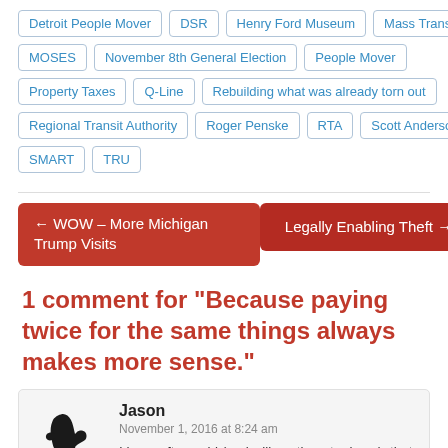Detroit People Mover
DSR
Henry Ford Museum
Mass Transit
MOSES
November 8th General Election
People Mover
Property Taxes
Q-Line
Rebuilding what was already torn out
Regional Transit Authority
Roger Penske
RTA
Scott Anderson
SMART
TRU
← WOW – More Michigan Trump Visits
Legally Enabling Theft →
1 comment for "Because paying twice for the same things always makes more sense."
Jason
November 1, 2016 at 8:24 am
I have often said (and will continue to do so), that